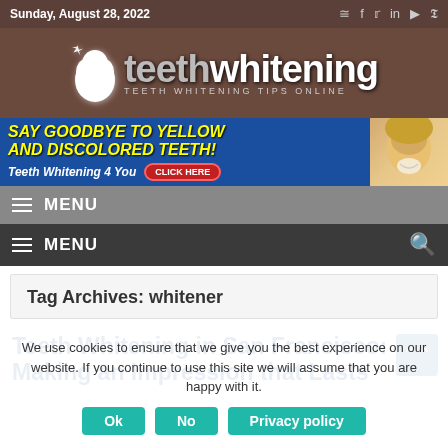Sunday, August 28, 2022
[Figure (logo): Teeth Whitening website logo with tooth icon and tagline TEETH WHITENING TIPS ONLINE on brown background]
[Figure (infographic): Advertisement banner: SAY GOODBYE TO YELLOW AND DISCOLORED TEETH! Teeth Whitening 4 You CLICK HERE, with woman smiling on right side]
MENU
MENU
Tag Archives: whitener
We use cookies to ensure that we give you the best experience on our website. If you continue to use this site we will assume that you are happy with it.
Teeth Whitening in San Francisco: Making an Impression that Lasts